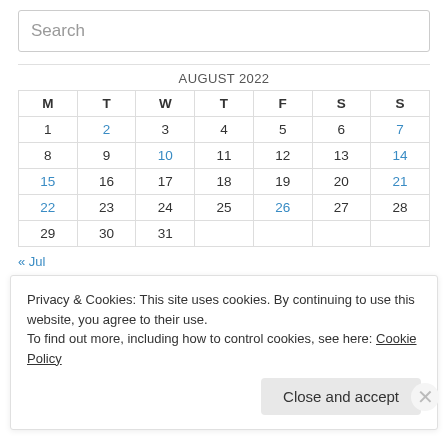Search
| M | T | W | T | F | S | S |
| --- | --- | --- | --- | --- | --- | --- |
| 1 | 2 | 3 | 4 | 5 | 6 | 7 |
| 8 | 9 | 10 | 11 | 12 | 13 | 14 |
| 15 | 16 | 17 | 18 | 19 | 20 | 21 |
| 22 | 23 | 24 | 25 | 26 | 27 | 28 |
| 29 | 30 | 31 |  |  |  |  |
« Jul
Privacy & Cookies: This site uses cookies. By continuing to use this website, you agree to their use.
To find out more, including how to control cookies, see here: Cookie Policy
Close and accept